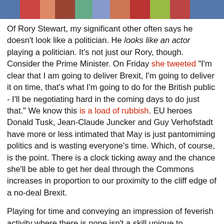[Figure (photo): Colorful horizontal image strip at top of page showing people in costumes or performance attire]
Of Rory Stewart, my significant other often says he doesn't look like a politician. He looks like an actor playing a politician. It's not just our Rory, though. Consider the Prime Minister. On Friday she tweeted "I'm clear that I am going to deliver Brexit, I'm going to deliver it on time, that's what I'm going to do for the British public - I'll be negotiating hard in the coming days to do just that." We know this is a load of rubbish. EU heroes Donald Tusk, Jean-Claude Juncker and Guy Verhofstadt have more or less intimated that May is just pantomiming politics and is wasting everyone's time. Which, of course, is the point. There is a clock ticking away and the chance she'll be able to get her deal through the Commons increases in proportion to our proximity to the cliff edge of a no-deal Brexit.
Playing for time and conveying an impression of feverish activity where there is none isn't a skill unique to politicians, but where our friends the Conservatives are concerned it has undergone something of a mutation. We need not expend any more time on Theresa May's woeful efforts, so let us clamber into the time machine and head back to the